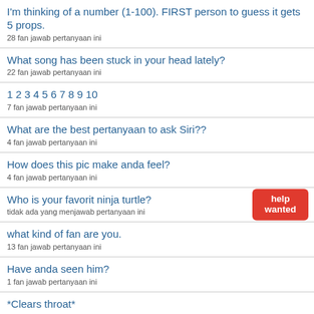I'm thinking of a number (1-100). FIRST person to guess it gets 5 props.
28 fan jawab pertanyaan ini
What song has been stuck in your head lately?
22 fan jawab pertanyaan ini
1 2 3 4 5 6 7 8 9 10
7 fan jawab pertanyaan ini
What are the best pertanyaan to ask Siri??
4 fan jawab pertanyaan ini
How does this pic make anda feel?
4 fan jawab pertanyaan ini
Who is your favorit ninja turtle?
tidak ada yang menjawab pertanyaan ini
what kind of fan are you.
13 fan jawab pertanyaan ini
Have anda seen him?
1 fan jawab pertanyaan ini
*Clears throat*
7 fan jawab pertanyaan ini